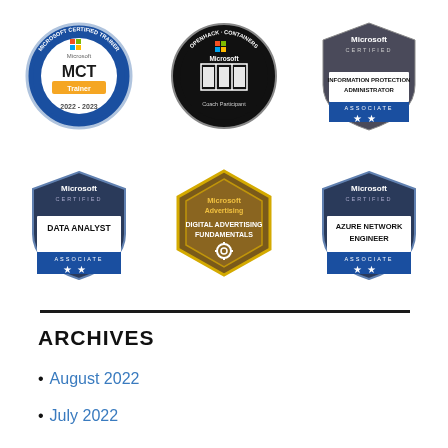[Figure (illustration): Six Microsoft certification badges arranged in a 3x2 grid: MCT Microsoft Certified Trainer 2022-2023 (circle badge), OpenHack Containers Coach Participant (black circle badge), Microsoft Certified Information Protection Administrator Associate (shield badge), Microsoft Certified Data Analyst Associate (shield badge), Microsoft Advertising Digital Advertising Fundamentals (hexagon badge), Microsoft Certified Azure Network Engineer Associate (shield badge)]
ARCHIVES
August 2022
July 2022